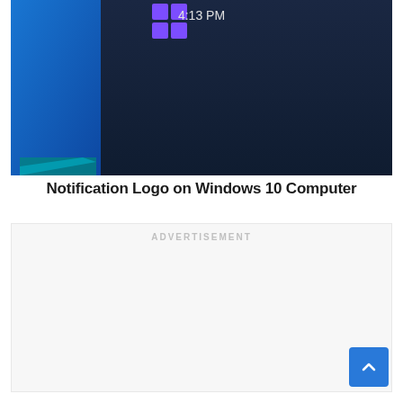[Figure (screenshot): Screenshot of a Windows 10 computer screen showing the notification logo area with a purple Windows 11 logo, the time 4:13 PM displayed, and a dark navy taskbar background. The left portion shows a blue desktop wallpaper.]
Notification Logo on Windows 10 Computer
ADVERTISEMENT